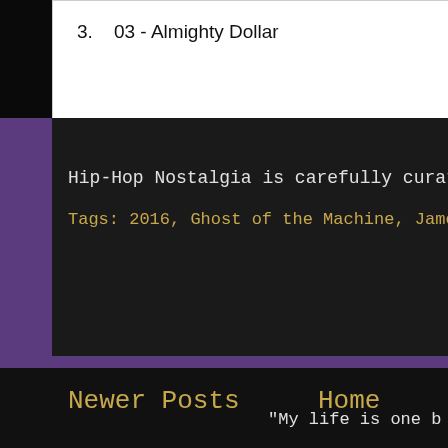3.   03 - Almighty Dollar
Hip-Hop Nostalgia is carefully curated by: DJ Sav One
Tags: 2016, Ghost of the Machine, James Green, Red Pill, Selection
Newer Posts
Home
"My life is one b